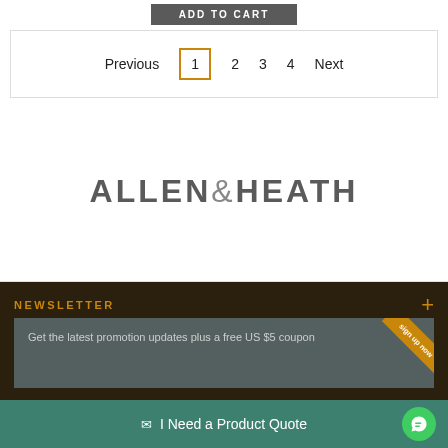ADD TO CART
Previous  1  2  3  4  Next
[Figure (logo): Allen & Heath brand logo in bold gray sans-serif text]
NEWSLETTER
Get the latest promotion updates plus a free US $5 coupon
sign up now
✉ I Need a Product Quote